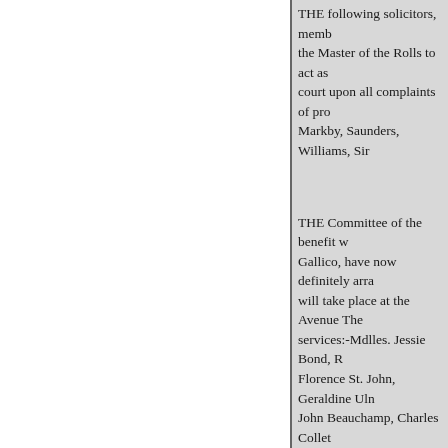THE following solicitors, members of the Master of the Rolls to act as court upon all complaints of pro Markby, Saunders, Williams, Sir
THE Committee of the benefit w Gallico, have now definitely arra will take place at the Avenue The services:-Mdlles. Jessie Bond, R Florence St. John, Geraldine Uln John Beauchamp, Charles Collet Lonnen, Harry Nicholls, Courtic Mdme. Belle Cole; Messrs. Walt of the "Mikado," with the Savoy Lanner, music by Mr. R. Gallico from the new Avenue burlesque, and Agnes, or the Bleeding Nun the parts are to be balloted for by girls will sing, and Mdlle. Berge The orchestra will include the le hands of Mr. H. T. Brickwell, an Mr. Gallico may certainly rely u